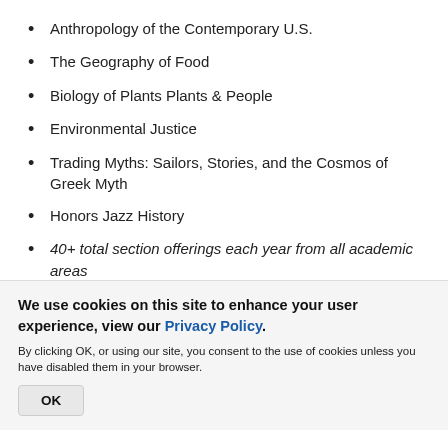Anthropology of the Contemporary U.S.
The Geography of Food
Biology of Plants Plants & People
Environmental Justice
Trading Myths: Sailors, Stories, and the Cosmos of Greek Myth
Honors Jazz History
40+ total section offerings each year from all academic areas
FULL LISTING OF RECENT HONORS COURSES OFFERED
We use cookies on this site to enhance your user experience, view our Privacy Policy.
By clicking OK, or using our site, you consent to the use of cookies unless you have disabled them in your browser.